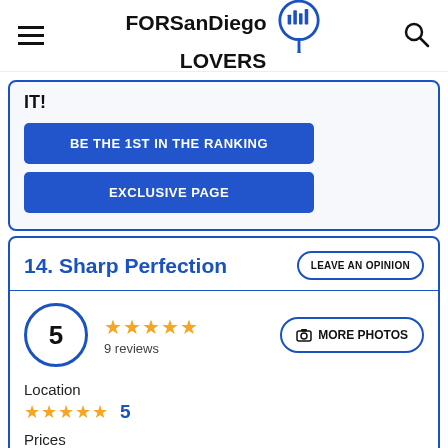FORSanDiego LOVERS
IT!
BE THE 1ST IN THE RANKING
EXCLUSIVE PAGE
14. Sharp Perfection
LEAVE AN OPINION
5, 9 reviews, MORE PHOTOS
Location
5
Prices